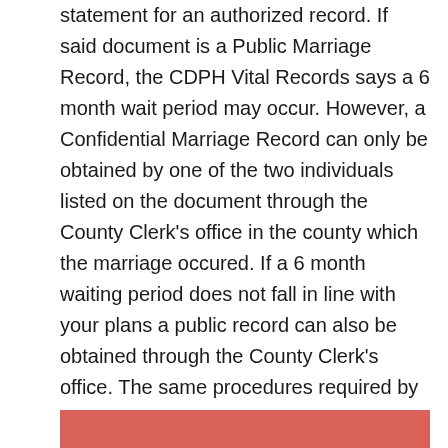statement for an authorized record. If said document is a Public Marriage Record, the CDPH Vital Records says a 6 month wait period may occur. However, a Confidential Marriage Record can only be obtained by one of the two individuals listed on the document through the County Clerk's office in the county which the marriage occured. If a 6 month waiting period does not fall in line with your plans a public record can also be obtained through the County Clerk's office. The same procedures required by the CDPH Vital Records department will apply when requesting either a Public Marriage Record or a Confidential Marriage Record from any given county's County Clerk's office.
[Figure (other): Red/salmon colored bar at the bottom of the page]